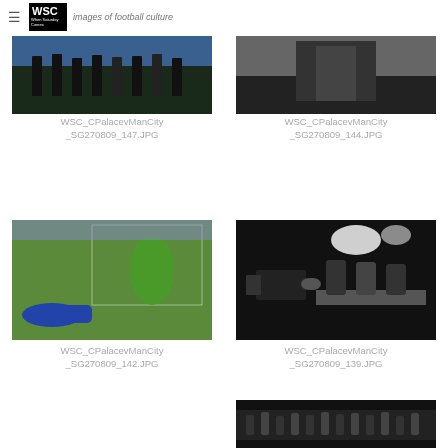WSC — images of football culture
[Figure (photo): Football players on pitch, dark jerseys]
WSC_CPalacevManCity_SG270809_147.JPG
[Figure (photo): Close-up of football player in dark kit]
WSC_CPalacevManCity_SG270809_144.JPG
[Figure (photo): Goalkeeper diving to make a save at Crystal Palace vs Man City]
WSC_CPalacevManCity_SG270809_142.JPG
[Figure (photo): TV studio setup with camera and pundits backstage]
WSC_CPalacevManCity_SG270809_139.JPG
[Figure (photo): Partial view of football crowd and players]